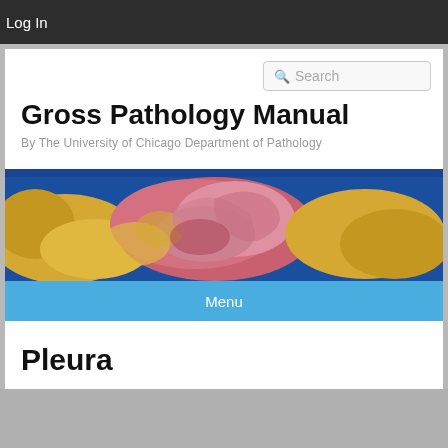Log In
Gross Pathology Manual
By The University of Chicago Department of Pathology
[Figure (photo): Gross pathology specimen banner image showing cross-sections of tissue with pink, red, and yellow areas on a blue background]
Menu
Pleura